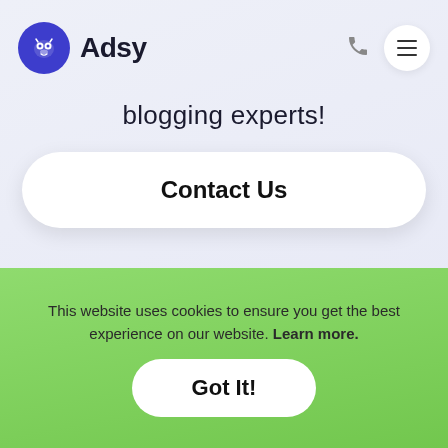[Figure (logo): Adsy logo: blue circle with white owl icon and bold text 'Adsy']
blogging experts!
Contact Us
This website uses cookies to ensure you get the best experience on our website. Learn more.
Got It!